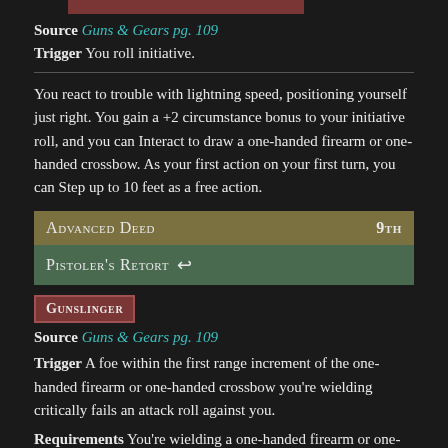[Figure (other): Dark red/maroon top bar strip]
Source Guns & Gears pg. 109
Trigger You roll initiative.
You react to trouble with lightning speed, positioning yourself just right. You gain a +2 circumstance bonus to your initiative roll, and you can Interact to draw a one-handed firearm or one-handed crossbow. As your first action on your first turn, you can Step up to 10 feet as a free action.
Advanced Deed 9th
Pistoler's Retort
Gunslinger
Source Guns & Gears pg. 109
Trigger A foe within the first range increment of the one-handed firearm or one-handed crossbow you're wielding critically fails an attack roll against you.
Requirements You're wielding a one-handed firearm or one-handed crossbow.